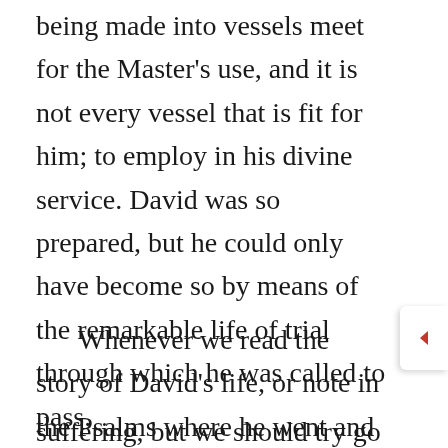being made into vessels meet for the Master's use, and it is not every vessel that is fit for him; to employ in his divine service. David was so prepared, but he could only have become so by means of the remarkable life of trial through which he was called to pass.
Whenever we read the story of David's life, or note in the Psalms where he went and what he did, we should not merely notice how David acted and suffered, and what he did while undergoing the suffering, but we should try go to study his